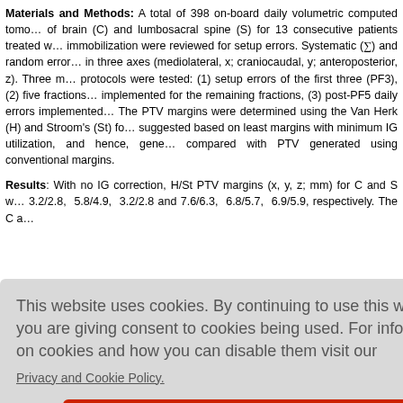Materials and Methods: A total of 398 on-board daily volumetric computed tomo... of brain (C) and lumbosacral spine (S) for 13 consecutive patients treated w... immobilization were reviewed for setup errors. Systematic (Σ) and random erro... in three axes (mediolateral, x; craniocaudal, y; anteroposterior, z). Three m... protocols were tested: (1) setup errors of the first three (PF3), (2) five fractions... implemented for the remaining fractions, (3) post-PF5 daily errors implemented... The PTV margins were determined using the Van Herk (H) and Stroom's (St) fo... suggested based on least margins with minimum IG utilization, and hence, gene... compared with PTV generated using conventional margins.
Results: With no IG correction, H/St PTV margins (x, y, z; mm) for C and S w... 3.2/2.8, 5.8/4.9, 3.2/2.8 and 7.6/6.3, 6.8/5.7, 6.9/5.9, respectively. The C a... followed by... for 5PFB w... I S, respecti... % PTV volu...
Cookie notice overlay: This website uses cookies. By continuing to use this website you are giving consent to cookies being used. For information on cookies and how you can disable them visit our Privacy and Cookie Policy. AGREE & PROCEED
...method an... ...erable dosin... ...urgins
Clinicopathologic spectrum, treatment characteristics, and outcome analy...